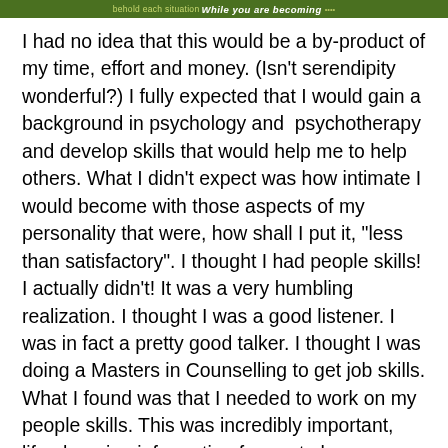behold each situation While you are becoming
I had no idea that this would be a by-product of my time, effort and money. (Isn't serendipity wonderful?) I fully expected that I would gain a background in psychology and  psychotherapy and develop skills that would help me to help others. What I didn't expect was how intimate I would become with those aspects of my personality that were, how shall I put it, "less than satisfactory". I thought I had people skills! I actually didn't! It was a very humbling realization. I thought I was a good listener. I was in fact a pretty good talker. I thought I was doing a Masters in Counselling to get job skills. What I found was that I needed to work on my people skills. This was incredibly important, life-changing information for me to have as a 30-year-old "professional." (At that point, I was 5 years into a career as a professional